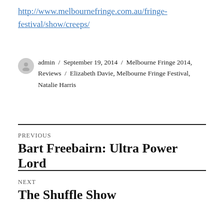http://www.melbournefringe.com.au/fringe-festival/show/creeps/
admin / September 19, 2014 / Melbourne Fringe 2014, Reviews / Elizabeth Davie, Melbourne Fringe Festival, Natalie Harris
PREVIOUS
Bart Freebairn: Ultra Power Lord
NEXT
The Shuffle Show